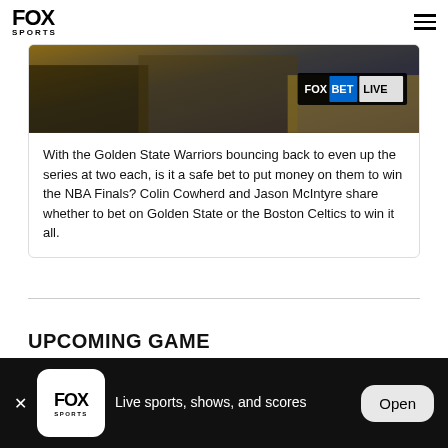FOX SPORTS
[Figure (screenshot): Video thumbnail showing Golden State Warriors players with FOX BET LIVE badge overlay]
With the Golden State Warriors bouncing back to even up the series at two each, is it a safe bet to put money on them to win the NBA Finals? Colin Cowherd and Jason McIntyre share whether to bet on Golden State or the Boston Celtics to win it all.
UPCOMING GAME
[Figure (screenshot): App install banner: FOX Sports logo, Live sports, shows, and scores, Open button]